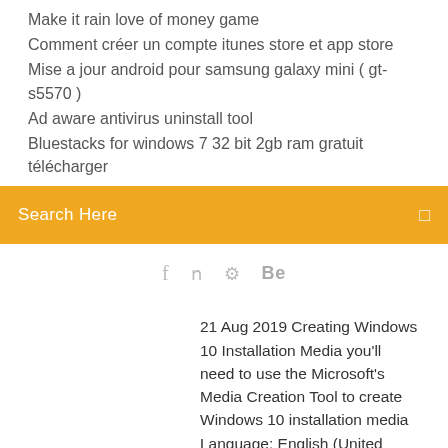Make it rain love of money game
Comment créer un compte itunes store et app store
Mise a jour android pour samsung galaxy mini ( gt- s5570 )
Ad aware antivirus uninstall tool
Bluestacks for windows 7 32 bit 2gb ram gratuit télécharger
[Figure (other): Orange search bar with text 'Search Here' and a search icon on the right]
[Figure (other): Social media icons: Facebook (f), Twitter (bird), a wheel/settings icon, and Behance (Be)]
21 Aug 2019 Creating Windows 10 Installation Media you'll need to use the Microsoft's Media Creation Tool to create Windows 10 installation media Language: English (United States); Edition: Windows 10; Architecture: 64-bit (x64)
Media Creation Tool x64 has been added to your